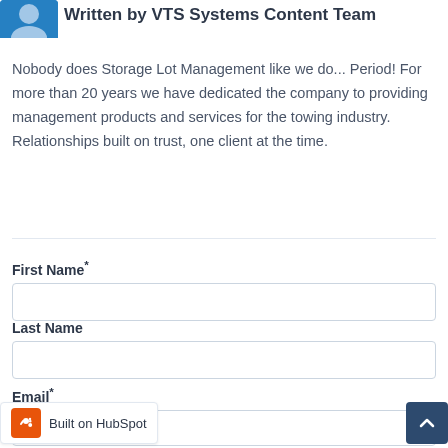[Figure (illustration): Blue avatar/profile image for VTS Systems Content Team author]
Written by VTS Systems Content Team
Nobody does Storage Lot Management like we do... Period! For more than 20 years we have dedicated the company to providing management products and services for the towing industry. Relationships built on trust, one client at the time.
First Name*
Last Name
Email*
[Figure (logo): HubSpot 'Built on HubSpot' badge with orange HubSpot icon]
[Figure (other): Scroll-to-top button with upward arrow, dark blue background]